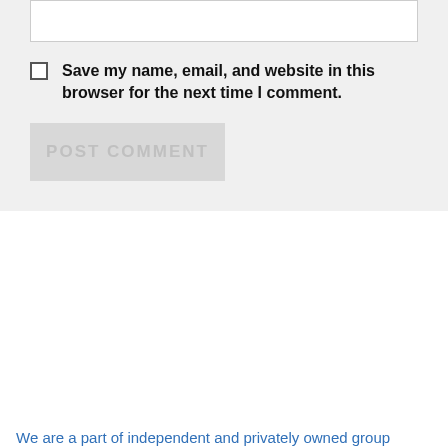Save my name, email, and website in this browser for the next time I comment.
POST COMMENT
We are a part of independent and privately owned group